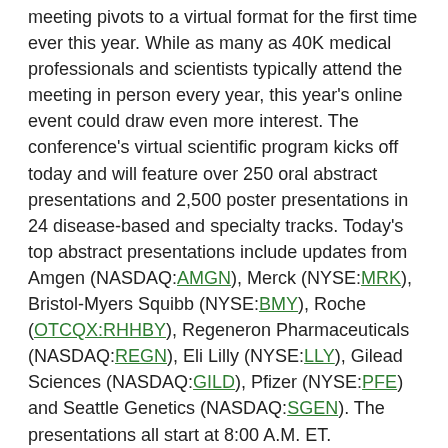meeting pivots to a virtual format for the first time ever this year. While as many as 40K medical professionals and scientists typically attend the meeting in person every year, this year's online event could draw even more interest. The conference's virtual scientific program kicks off today and will feature over 250 oral abstract presentations and 2,500 poster presentations in 24 disease-based and specialty tracks. Today's top abstract presentations include updates from Amgen (NASDAQ:AMGN), Merck (NYSE:MRK), Bristol-Myers Squibb (NYSE:BMY), Roche (OTCQX:RHHBY), Regeneron Pharmaceuticals (NASDAQ:REGN), Eli Lilly (NYSE:LLY), Gilead Sciences (NASDAQ:GILD), Pfizer (NYSE:PFE) and Seattle Genetics (NASDAQ:SGEN). The presentations all start at 8:00 A.M. ET.
Crude oil futures fall back
Oil prices are lower after U.S. inventory data showed soft fuel demand, despite the hopes for a Memorial Day weekend rush